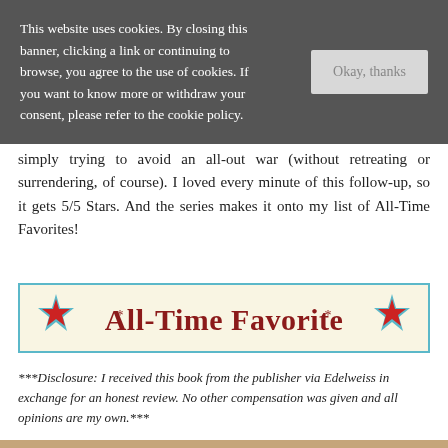This website uses cookies. By closing this banner, clicking a link or continuing to browse, you agree to the use of cookies. If you want to know more or withdraw your consent, please refer to the cookie policy.
simply trying to avoid an all-out war (without retreating or surrendering, of course). I loved every minute of this follow-up, so it gets 5/5 Stars. And the series makes it onto my list of All-Time Favorites!
[Figure (illustration): All-Time Favorite banner with red stars on left and right, dark red serif text 'All-Time Favorite' on cream/yellow background with teal border]
***Disclosure: I received this book from the publisher via Edelweiss in exchange for an honest review. No other compensation was given and all opinions are my own.***